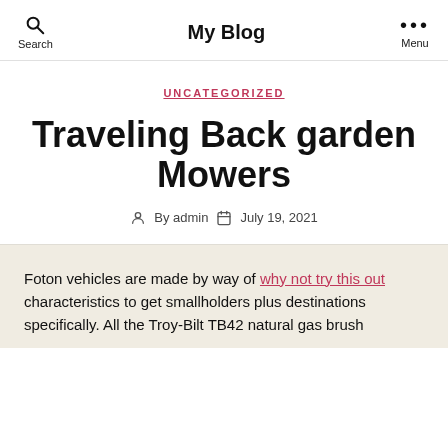My Blog — Search / Menu
UNCATEGORIZED
Traveling Back garden Mowers
By admin · July 19, 2021
Foton vehicles are made by way of why not try this out characteristics to get smallholders plus destinations specifically. All the Troy-Bilt TB42 natural gas brush